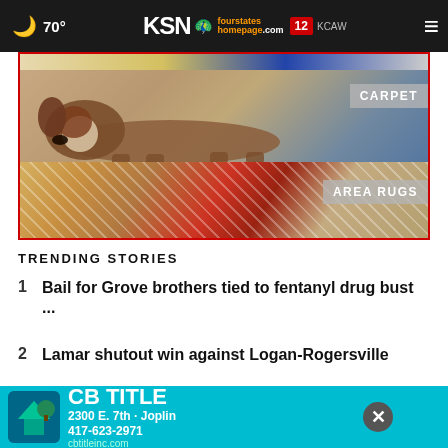🌙 70° | KSN fourstates homepage.com 12 | ≡
[Figure (photo): Advertisement image showing a Saint Bernard dog lying on carpet (labeled CARPET) and colorful area rugs (labeled AREA RUGS), with a red border frame.]
TRENDING STORIES
1  Bail for Grove brothers tied to fentanyl drug bust ...
2  Lamar shutout win against Logan-Rogersville
3  2... neca football...
[Figure (screenshot): Overlay advertisement banner for CB TITLE, 2300 E. 7th - Joplin, 417-623-2971, cbtitleinc.com, with teal background and close button.]